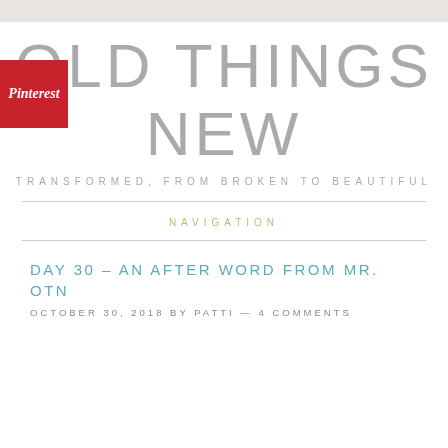OLD THINGS NEW
TRANSFORMED, FROM BROKEN TO BEAUTIFUL
[Figure (logo): Pinterest red badge logo with white italic 'Pinterest' text]
NAVIGATION
DAY 30 – AN AFTER WORD FROM MR. OTN
OCTOBER 30, 2018 BY PATTI — 4 COMMENTS